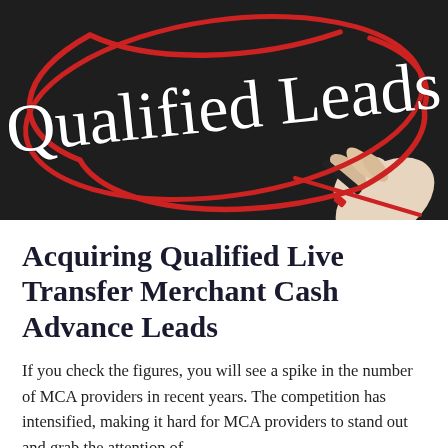[Figure (photo): A hand writing 'Qualified Leads' in white cursive script on a dark chalkboard background, with a red oval/circle drawn around the text. The hand holds a red marker.]
Acquiring Qualified Live Transfer Merchant Cash Advance Leads
If you check the figures, you will see a spike in the number of MCA providers in recent years. The competition has intensified, making it hard for MCA providers to stand out and grab the attention of